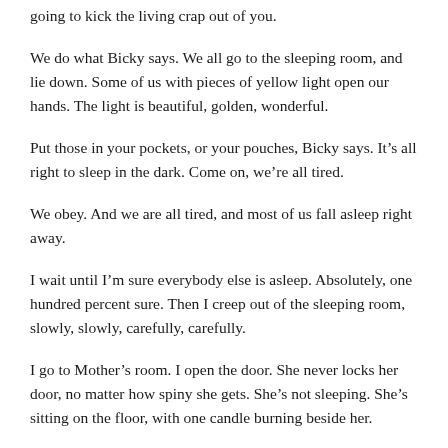going to kick the living crap out of you.
We do what Bicky says. We all go to the sleeping room, and lie down. Some of us with pieces of yellow light open our hands. The light is beautiful, golden, wonderful.
Put those in your pockets, or your pouches, Bicky says. It's all right to sleep in the dark. Come on, we're all tired.
We obey. And we are all tired, and most of us fall asleep right away.
I wait until I'm sure everybody else is asleep. Absolutely, one hundred percent sure. Then I creep out of the sleeping room, slowly, slowly, carefully, carefully.
I go to Mother's room. I open the door. She never locks her door, no matter how spiny she gets. She's not sleeping. She's sitting on the floor, with one candle burning beside her.